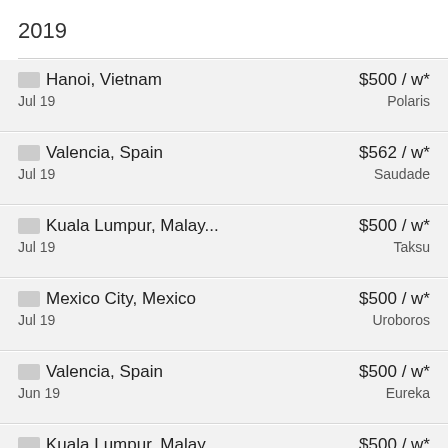2019
🇻🇳 Hanoi, Vietnam | Jul 19 | $500 / w* | Polaris
🇪🇸 Valencia, Spain | Jul 19 | $562 / w* | Saudade
🇲🇾 Kuala Lumpur, Malay... | Jul 19 | $500 / w* | Taksu
🇲🇽 Mexico City, Mexico | Jul 19 | $500 / w* | Uroboros
🇪🇸 Valencia, Spain | Jun 19 | $500 / w* | Eureka
🇲🇾 Kuala Lumpur, Malay... | $500 / w*